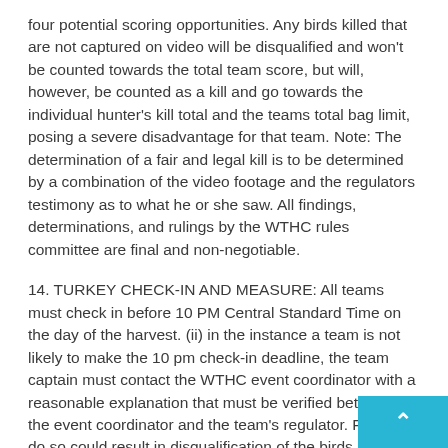four potential scoring opportunities. Any birds killed that are not captured on video will be disqualified and won't be counted towards the total team score, but will, however, be counted as a kill and go towards the individual hunter's kill total and the teams total bag limit, posing a severe disadvantage for that team. Note: The determination of a fair and legal kill is to be determined by a combination of the video footage and the regulators testimony as to what he or she saw. All findings, determinations, and rulings by the WTHC rules committee are final and non-negotiable.
14. TURKEY CHECK-IN AND MEASURE: All teams must check in before 10 PM Central Standard Time on the day of the harvest. (ii) in the instance a team is not likely to make the 10 pm check-in deadline, the team captain must contact the WTHC event coordinator with a reasonable explanation that must be verified between the event coordinator and the team's regulator. Failure to do so could result in disqualification of the birds harvested on that particular hunt. Check-in area will be clearly identified. Turkeys must be brought in whole and must have all legal tags attached to each particular bird prior to